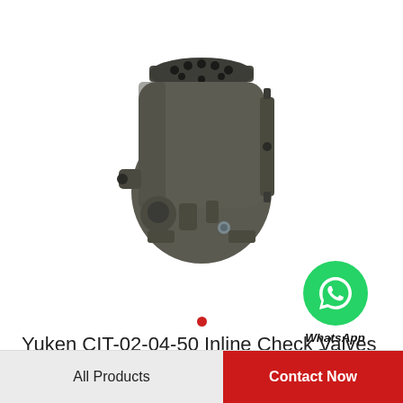[Figure (photo): Yuken CIT-02-04-50 Inline Check Valve hydraulic component, dark metallic body with multiple ports and fittings, photographed on white background]
[Figure (logo): WhatsApp green circle icon with white phone handset, labeled 'WhatsApp Online' in bold italic text below]
Yuken CIT-02-04-50 Inline Check Valves
All Products
Contact Now